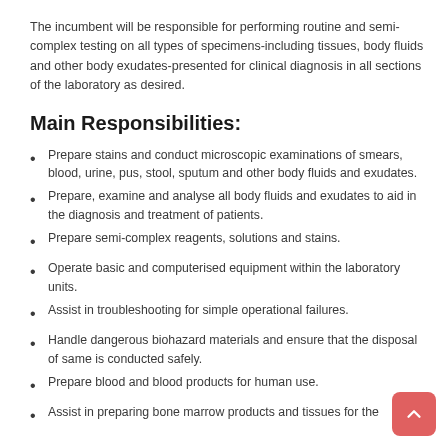The incumbent will be responsible for performing routine and semi-complex testing on all types of specimens-including tissues, body fluids and other body exudates-presented for clinical diagnosis in all sections of the laboratory as desired.
Main Responsibilities:
Prepare stains and conduct microscopic examinations of smears, blood, urine, pus, stool, sputum and other body fluids and exudates.
Prepare, examine and analyse all body fluids and exudates to aid in the diagnosis and treatment of patients.
Prepare semi-complex reagents, solutions and stains.
Operate basic and computerised equipment within the laboratory units.
Assist in troubleshooting for simple operational failures.
Handle dangerous biohazard materials and ensure that the disposal of same is conducted safely.
Prepare blood and blood products for human use.
Assist in preparing bone marrow products and tissues for the